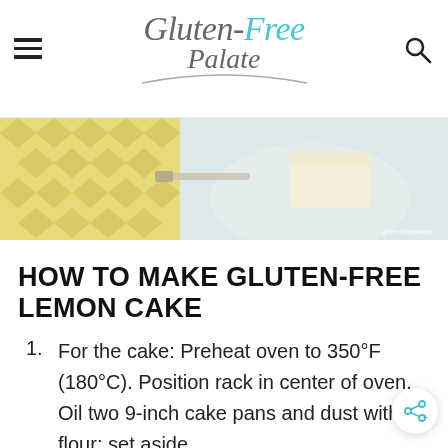Gluten-Free Palate
[Figure (photo): Top-down photo of a slice of lemon cake on a plate with a yellow patterned cloth and knife, partial view cropped at top]
HOW TO MAKE GLUTEN-FREE LEMON CAKE
For the cake: Preheat oven to 350°F (180°C). Position rack in center of oven. Oil two 9-inch cake pans and dust with flour; set aside.